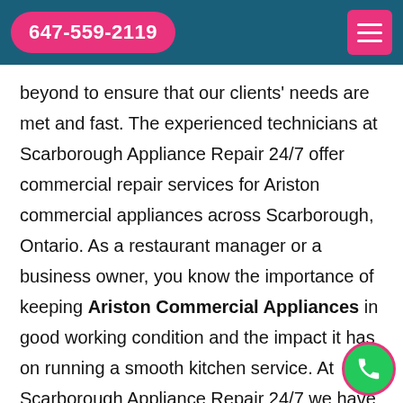647-559-2119
beyond to ensure that our clients' needs are met and fast. The experienced technicians at Scarborough Appliance Repair 24/7 offer commercial repair services for Ariston commercial appliances across Scarborough, Ontario. As a restaurant manager or a business owner, you know the importance of keeping Ariston Commercial Appliances in good working condition and the impact it has on running a smooth kitchen service. At Scarborough Appliance Repair 24/7 we have made it easier to get your Ariston commercial appliances fixed without the stress and hassle